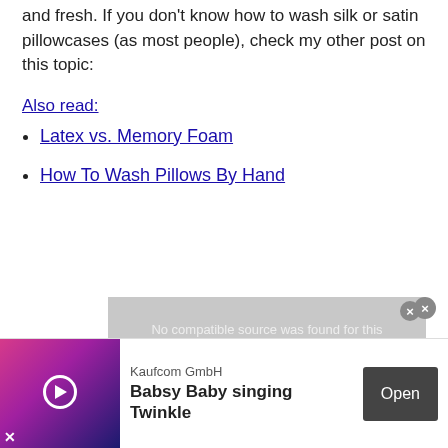and fresh. If you don't know how to wash silk or satin pillowcases (as most people), check my other post on this topic:
Also read:
Latex vs. Memory Foam
How To Wash Pillows By Hand
[Figure (screenshot): Video player placeholder showing 'No compatible source was found for this' message with CANVOU watermark and close button]
[Figure (screenshot): Mobile advertisement banner: Kaufcom GmbH - Babsy Baby singing Twinkle with Open button]